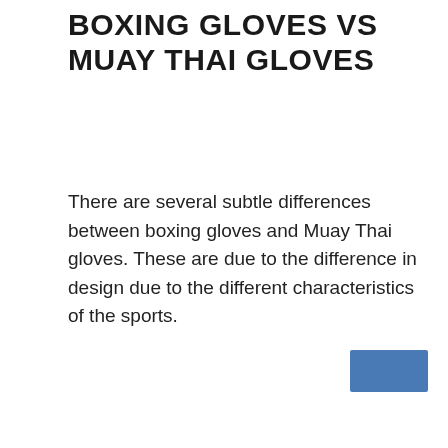BOXING GLOVES VS MUAY THAI GLOVES
There are several subtle differences between boxing gloves and Muay Thai gloves. These are due to the difference in design due to the different characteristics of the sports.
[Figure (other): A blue rectangular button or UI element in the bottom-right corner of the page.]